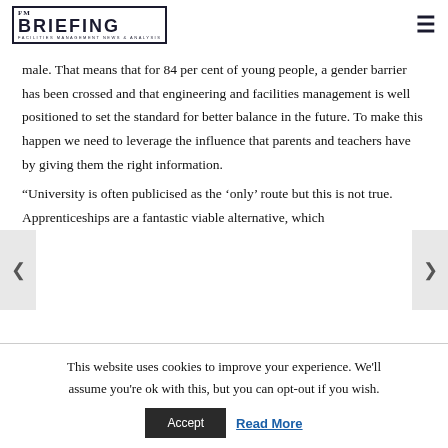FM BRIEFING
male. That means that for 84 per cent of young people, a gender barrier has been crossed and that engineering and facilities management is well positioned to set the standard for better balance in the future. To make this happen we need to leverage the influence that parents and teachers have by giving them the right information.
“University is often publicised as the ‘only’ route but this is not true. Apprenticeships are a fantastic viable alternative, which
This website uses cookies to improve your experience. We'll assume you're ok with this, but you can opt-out if you wish.
Accept   Read More